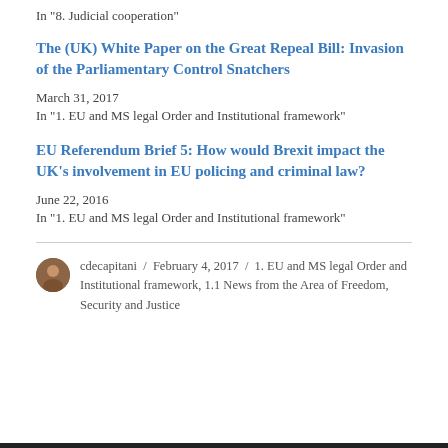In "8. Judicial cooperation"
The (UK) White Paper on the Great Repeal Bill: Invasion of the Parliamentary Control Snatchers
March 31, 2017
In "1. EU and MS legal Order and Institutional framework"
EU Referendum Brief 5: How would Brexit impact the UK’s involvement in EU policing and criminal law?
June 22, 2016
In "1. EU and MS legal Order and Institutional framework"
cdecapitani / February 4, 2017 / 1. EU and MS legal Order and Institutional framework, 1.1 News from the Area of Freedom, Security and Justice